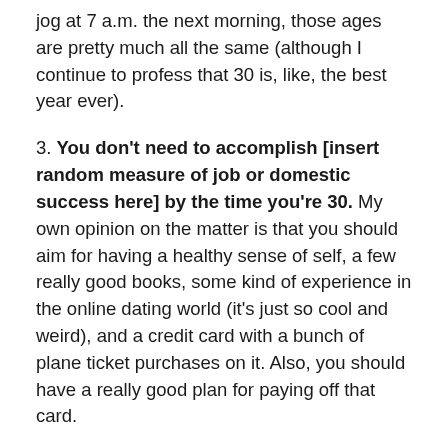jog at 7 a.m. the next morning, those ages are pretty much all the same (although I continue to profess that 30 is, like, the best year ever).
3. You don't need to accomplish [insert random measure of job or domestic success here] by the time you're 30. My own opinion on the matter is that you should aim for having a healthy sense of self, a few really good books, some kind of experience in the online dating world (it's just so cool and weird), and a credit card with a bunch of plane ticket purchases on it. Also, you should have a really good plan for paying off that card.
4. Habits are habits are habits. You can always make or break them – and you should, no matter how old you are. If you wasted your twenties doing what you always do and not learning how to build your own computer or light a